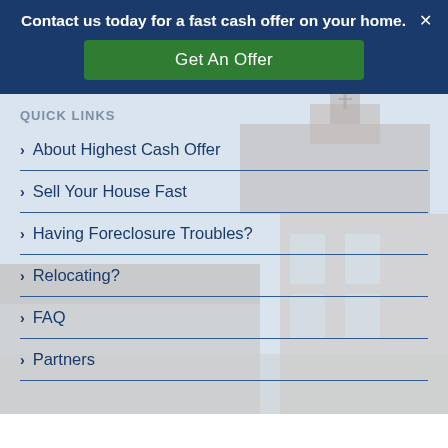Contact us today for a fast cash offer on your home.
Get An Offer
QUICK LINKS
About Highest Cash Offer
Sell Your House Fast
Having Foreclosure Troubles?
Relocating?
FAQ
Partners